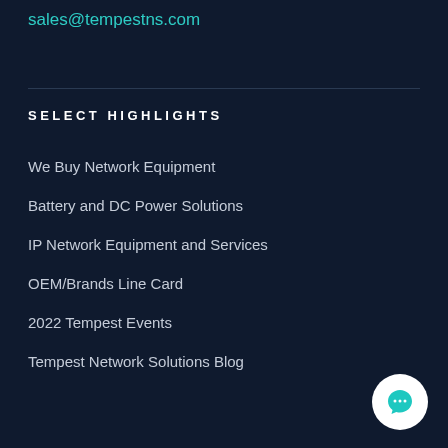sales@tempestns.com
SELECT HIGHLIGHTS
We Buy Network Equipment
Battery and DC Power Solutions
IP Network Equipment and Services
OEM/Brands Line Card
2022 Tempest Events
Tempest Network Solutions Blog
[Figure (illustration): White circular chat button with teal speech bubble icon in bottom-right corner]